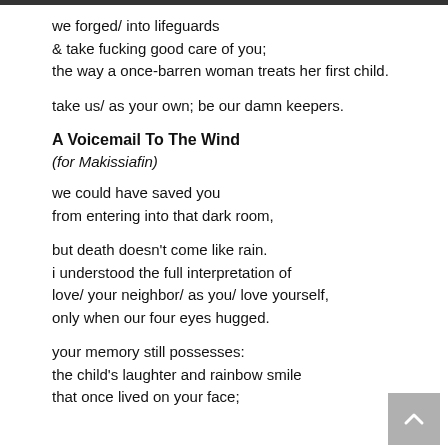we forged/ into lifeguards
& take fucking good care of you;
the way a once-barren woman treats her first child.
take us/ as your own; be our damn keepers.
A Voicemail To The Wind
(for Makissiafin)
we could have saved you
from entering into that dark room,
but death doesn't come like rain.
i understood the full interpretation of
love/ your neighbor/ as you/ love yourself,
only when our four eyes hugged.
your memory still possesses:
the child's laughter and rainbow smile
that once lived on your face;